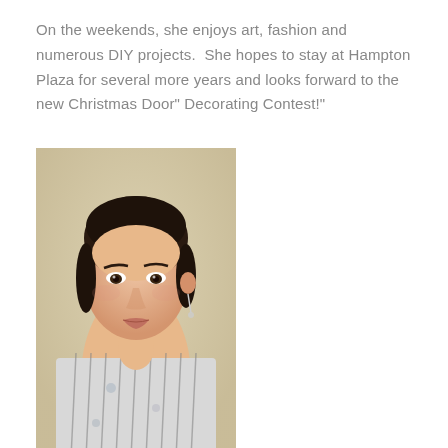On the weekends, she enjoys art, fashion and numerous DIY projects.  She hopes to stay at Hampton Plaza for several more years and looks forward to the new Christmas Door" Decorating Contest!"
[Figure (photo): Portrait photo of a woman with dark hair pulled back, wearing a striped and floral blouse, standing against a beige/tan wall background.]